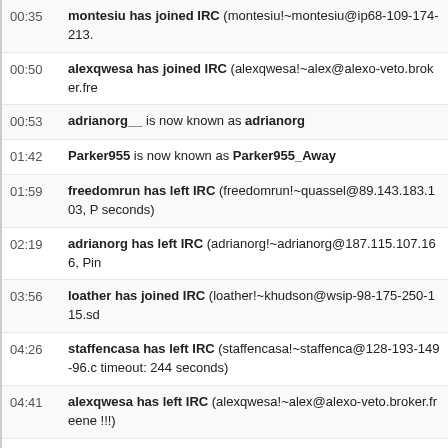00:35  montesiu has joined IRC (montesiu!~montesiu@ip68-109-174-213.
00:50  alexqwesa has joined IRC (alexqwesa!~alex@alexo-veto.broker.fre
00:53  adrianorg__ is now known as adrianorg
01:42  Parker955 is now known as Parker955_Away
01:59  freedomrun has left IRC (freedomrun!~quassel@89.143.183.103, P seconds)
02:19  adrianorg has left IRC (adrianorg!~adrianorg@187.115.107.166, Pin
03:56  loather has joined IRC (loather!~khudson@wsip-98-175-250-115.sd
04:26  staffencasa has left IRC (staffencasa!~staffenca@128-193-149-96.c timeout: 244 seconds)
04:41  alexqwesa has left IRC (alexqwesa!~alex@alexo-veto.broker.freene !!!)
04:57  vagrantc has joined IRC (vagrantc!~vagrant@c-76-115-60-19.hsd1.
05:06  killermike has joined IRC (killermike!~killermik@2.26.91.173)